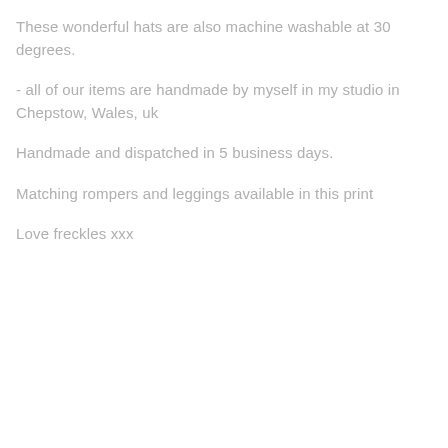These wonderful hats are also machine washable at 30 degrees.
- all of our items are handmade by myself in my studio in Chepstow, Wales, uk
Handmade and dispatched in 5 business days.
Matching rompers and leggings available in this print
Love freckles xxx